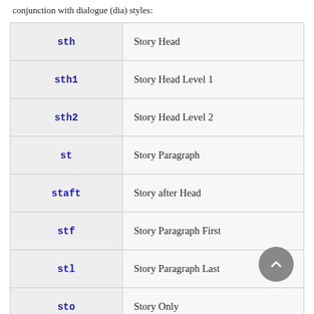conjunction with dialogue (dia) styles:
| Style | Description |
| --- | --- |
| sth | Story Head |
| sth1 | Story Head Level 1 |
| sth2 | Story Head Level 2 |
| st | Story Paragraph |
| staft | Story after Head |
| stf | Story Paragraph First |
| stl | Story Paragraph Last |
| sto | Story Only |